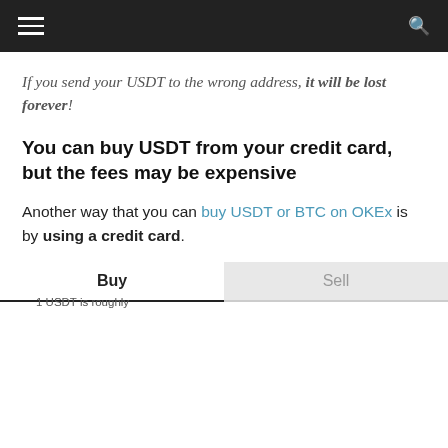Navigation header with hamburger menu and search icon
If you send your USDT to the wrong address, it will be lost forever!
You can buy USDT from your credit card, but the fees may be expensive
Another way that you can buy USDT or BTC on OKEx is by using a credit card.
[Figure (screenshot): Buy/Sell tab interface with overlay ads showing 'No compatible source was found for this media.' and search results for 'LUXURY CARS' and 'AFFORDABLE HOUSING']